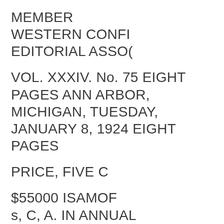MEMBER
WESTERN CONFI
EDITORIAL ASSO(
VOL. XXXIV. No. 75 EIGHT PAGES ANN ARBOR, MICHIGAN, TUESDAY, JANUARY 8, 1924 EIGHT PAGES
PRICE, FIVE C
$55000 ISAMOF
s, C, A. IN ANNUAL
CAMPAIGN OPENS TONIGHT WITH
MEETING OF PARTI-